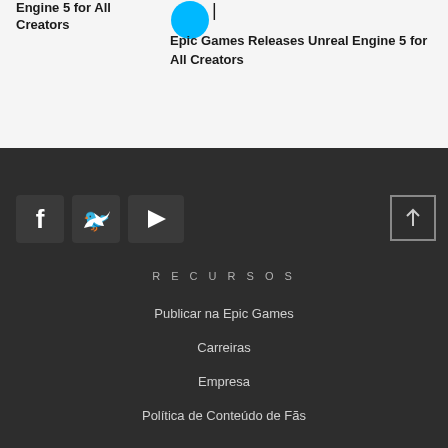Engine 5 for All Creators
Epic Games Releases Unreal Engine 5 for All Creators
[Figure (logo): Cyan circular icon/logo]
RECURSOS
Publicar na Epic Games
Carreiras
Empresa
Política de Conteúdo de Fãs